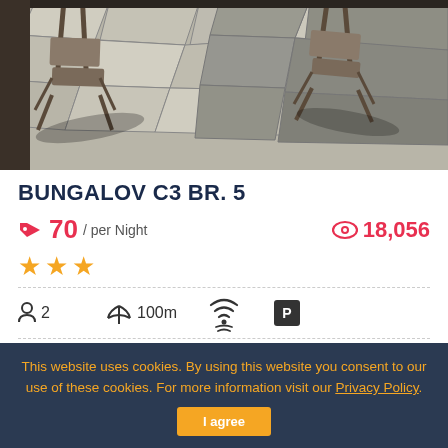[Figure (photo): Outdoor patio area with two folding chairs casting shadows on stone tile flooring, viewed from above]
BUNGALOV C3 BR. 5
70 / per Night   18,056
★★★
2   100m   [wifi]   [P]
This website uses cookies. By using this website you consent to our use of these cookies. For more information visit our Privacy Policy.
I agree